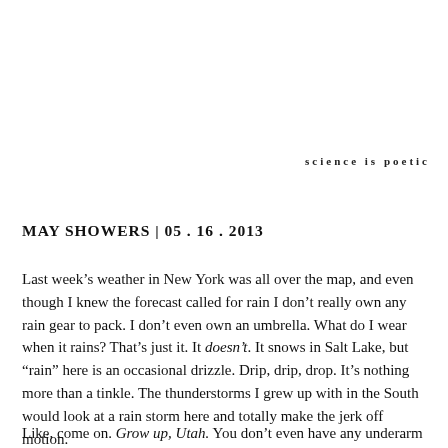science is poetic
MAY SHOWERS | 05 . 16 . 2013
Last week’s weather in New York was all over the map, and even though I knew the forecast called for rain I don’t really own any rain gear to pack. I don’t even own an umbrella. What do I wear when it rains? That’s just it. It doesn’t. It snows in Salt Lake, but “rain” here is an occasional drizzle. Drip, drip, drop. It’s nothing more than a tinkle. The thunderstorms I grew up with in the South would look at a rain storm here and totally make the jerk off motion.
Like, come on. Grow up, Utah. You don’t even have any underarm hair.